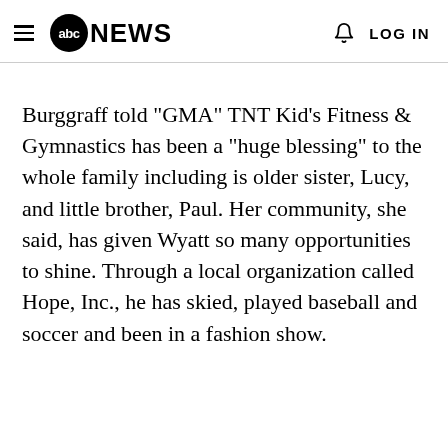abc NEWS  LOG IN
Burggraff told "GMA" TNT Kid's Fitness & Gymnastics has been a "huge blessing" to the whole family including is older sister, Lucy, and little brother, Paul. Her community, she said, has given Wyatt so many opportunities to shine. Through a local organization called Hope, Inc., he has skied, played baseball and soccer and been in a fashion show.